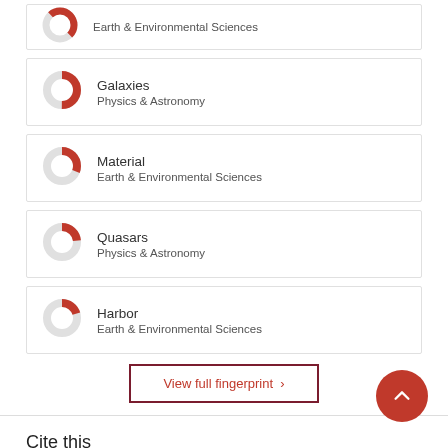Earth & Environmental Sciences
Galaxies
Physics & Astronomy
Material
Earth & Environmental Sciences
Quasars
Physics & Astronomy
Harbor
Earth & Environmental Sciences
View full fingerprint ›
Cite this